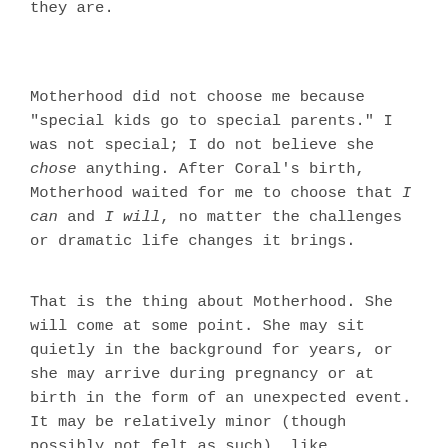they are.
Motherhood did not choose me because "special kids go to special parents." I was not special; I do not believe she chose anything. After Coral's birth, Motherhood waited for me to choose that I can and I will, no matter the challenges or dramatic life changes it brings.
That is the thing about Motherhood. She will come at some point. She may sit quietly in the background for years, or she may arrive during pregnancy or at birth in the form of an unexpected event. It may be relatively minor (though possibly not felt as such), like disagreeing with an adult child's major life decision; or it may be traumatic and immediately life changing- an illness, an accident, or an unexpected